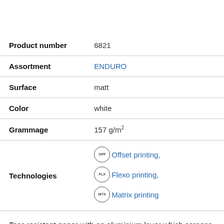| Property | Value |
| --- | --- |
| Product number | 6821 |
| Assortment | ENDURO |
| Surface | matt |
| Color | white |
| Grammage | 157 g/m² |
| Technologies | Offset printing, Flexo printing, Matrix printing |
Tear-resistant paper with an aluminium layer which screens against RFID / NFC. Ideal for opaque envelopes to prevent reading of contents, prevents unwanted reading of data stored on transponders for credit cards, ID cards or